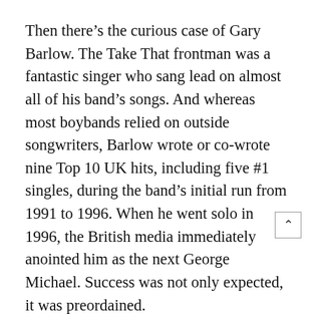Then there’s the curious case of Gary Barlow. The Take That frontman was a fantastic singer who sang lead on almost all of his band’s songs. And whereas most boybands relied on outside songwriters, Barlow wrote or co-wrote nine Top 10 UK hits, including five #1 singles, during the band’s initial run from 1991 to 1996. When he went solo in 1996, the British media immediately anointed him as the next George Michael. Success was not only expected, it was preordained.
As such, that only made what eventually happened all the more shocking. In 2000, barely four years after Take That’s breakup, Barlow suffered the ignominy of being dropped by his label, all but ending his solo career. Worse, he had to watch as bandmate-turned-